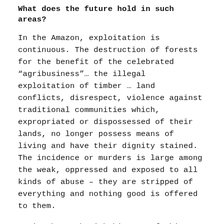What does the future hold in such areas?
In the Amazon, exploitation is continuous. The destruction of forests for the benefit of the celebrated “agribusiness”... the illegal exploitation of timber ... land conflicts, disrespect, violence against traditional communities which, expropriated or dispossessed of their lands, no longer possess means of living and have their dignity stained. The incidence or murders is large among the weak, oppressed and exposed to all kinds of abuse – they are stripped of everything and nothing good is offered to them.
It is about the inhabitants of this region that Éder Oliveira will launch his acute, unique vision – an environment in which opportunities for a decent future are so rare. The artist is not touched by the success but